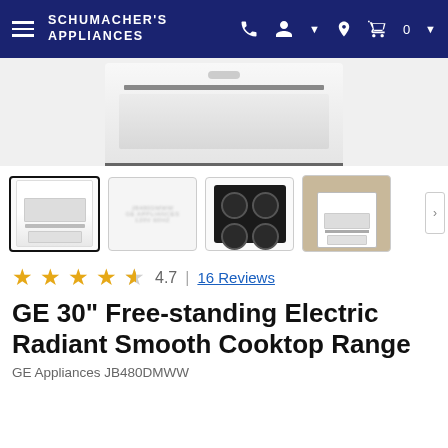Schumacher's Appliances
[Figure (photo): Top portion of a white GE free-standing electric range/oven, showing the glass top and control area from above, on a light grey background]
[Figure (photo): Four product thumbnail images: (1) full white GE range front view (selected/active), (2) product label/spec sticker image (blurred), (3) black ceramic cooktop surface with four burner rings, (4) white range in a kitchen lifestyle setting]
4.7 | 16 Reviews
GE 30" Free-standing Electric Radiant Smooth Cooktop Range
GE Appliances JB480DMWW